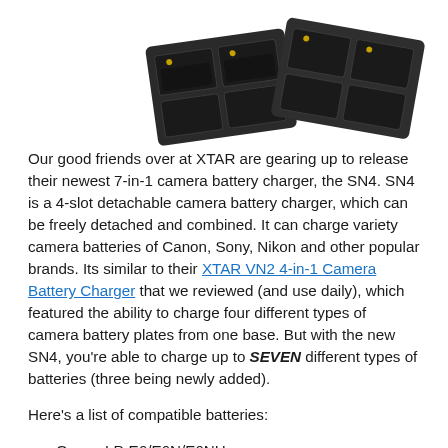[Figure (photo): Product photo of XTAR SN4 camera battery charger, showing multiple black slots/plates arranged in an angled view against a white background.]
Our good friends over at XTAR are gearing up to release their newest 7-in-1 camera battery charger, the SN4. SN4 is a 4-slot detachable camera battery charger, which can be freely detached and combined. It can charge variety camera batteries of Canon, Sony, Nikon and other popular brands. Its similar to their XTAR VN2 4-in-1 Camera Battery Charger that we reviewed (and use daily), which featured the ability to charge four different types of camera battery plates from one base. But with the new SN4, you're able to charge up to SEVEN different types of batteries (three being newly added).
Here's a list of compatible batteries:
Canon LP-E6/E6N/E6NH
Canon LP-E8
Canon LP-E17